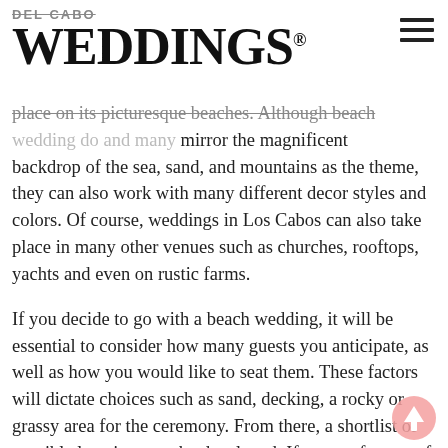DEL CABO WEDDINGS®
place on its picturesque beaches. Although beach wedding do and many mirror the magnificent backdrop of the sea, sand, and mountains as the theme, they can also work with many different decor styles and colors. Of course, weddings in Los Cabos can also take place in many other venues such as churches, rooftops, yachts and even on rustic farms.
If you decide to go with a beach wedding, it will be essential to consider how many guests you anticipate, as well as how you would like to seat them. These factors will dictate choices such as sand, decking, a rocky or grassy area for the ceremony. From there, a shortlist of possible locations can be developed. If you prefer one of the other venue styles, the number of guests rule will still be your most significant determiner.
Site visits are the perfect way to feel the vibe of a venue. In